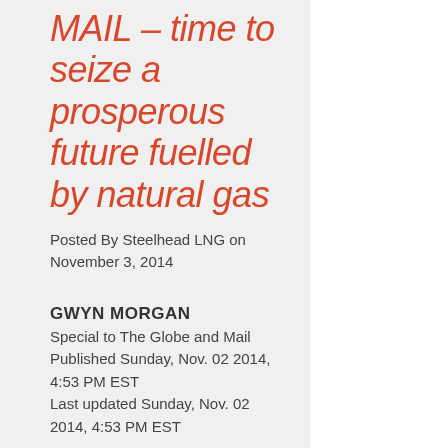MAIL – time to seize a prosperous future fuelled by natural gas
Posted By Steelhead LNG on November 3, 2014
GWYN MORGAN
Special to The Globe and Mail
Published Sunday, Nov. 02 2014, 4:53 PM EST
Last updated Sunday, Nov. 02 2014, 4:53 PM EST
Which fossil fuel is the largest generator of greenhouse-gas